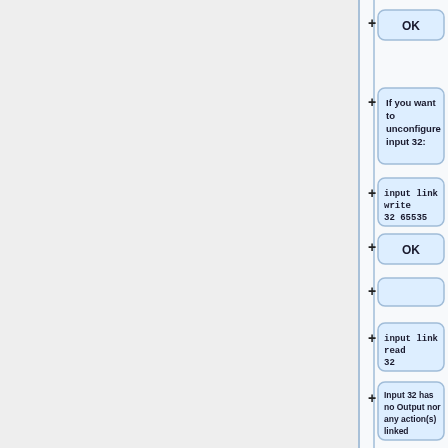[Figure (flowchart): A vertical flowchart on the right side of the page showing a sequence of steps: OK, 'If you want to unconfigure input 32:', 'input link write 32 65535', OK, (empty), 'input link read 32', 'Input 32 has no Output nor any action(s) linked', OK, (empty), (partial next item). Each step has a plus symbol and a rounded box.]